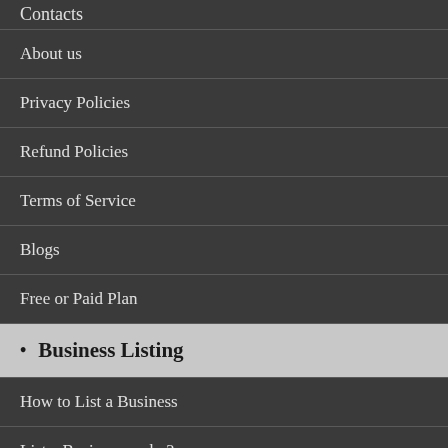Contacts
About us
Privacy Policies
Refund Policies
Terms of Service
Blogs
Free or Paid Plan
Business Listing
How to List a Business
List a Business - why?